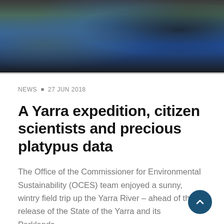[Figure (photo): Outdoor photo showing people in a group, one person wearing a blue jacket, with greenery in the background. The image is cropped to show torsos and hands.]
NEWS • 27 JUN 2018
A Yarra expedition, citizen scientists and precious platypus data
The Office of the Commissioner for Environmental Sustainability (OCES) team enjoyed a sunny, wintry field trip up the Yarra River – ahead of the release of the State of the Yarra and its Parklands...